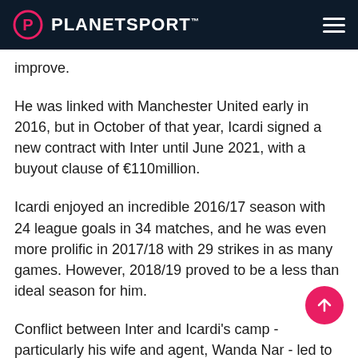PLANETSPORT
improve.
He was linked with Manchester United early in 2016, but in October of that year, Icardi signed a new contract with Inter until June 2021, with a buyout clause of €110million.
Icardi enjoyed an incredible 2016/17 season with 24 league goals in 34 matches, and he was even more prolific in 2017/18 with 29 strikes in as many games. However, 2018/19 proved to be a less than ideal season for him.
Conflict between Inter and Icardi's camp - particularly his wife and agent, Wanda Nar - led to him being stripped of the captaincy in February 2019 with Samir Handanovic picking it...